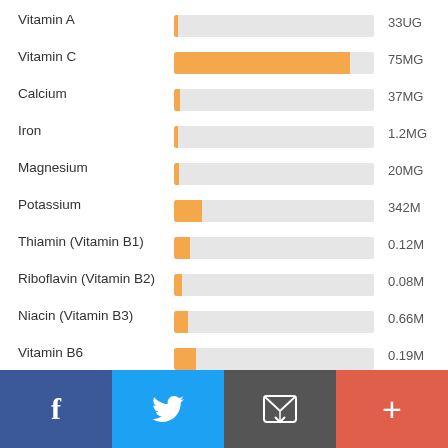[Figure (bar-chart): Vitamins and Minerals]
Facebook | Twitter | Email | +